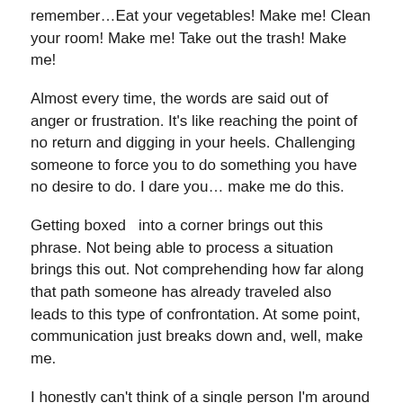remember…Eat your vegetables! Make me! Clean your room! Make me! Take out the trash! Make me!
Almost every time, the words are said out of anger or frustration. It's like reaching the point of no return and digging in your heels. Challenging someone to force you to do something you have no desire to do. I dare you… make me do this.
Getting boxed  into a corner brings out this phrase. Not being able to process a situation brings this out. Not comprehending how far along that path someone has already traveled also leads to this type of confrontation. At some point, communication just breaks down and, well, make me.
I honestly can't think of a single person I'm around on a regular basis that hasn't gone into make me mode at